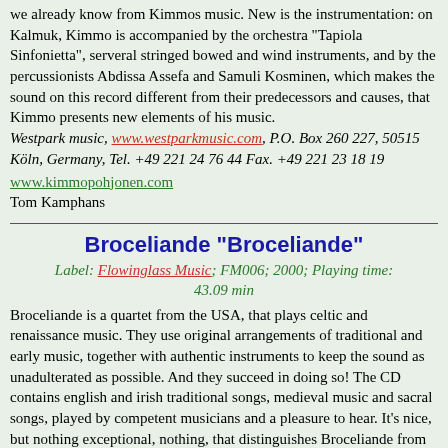We already know from Kimmos music. New is the instrumentation: on Kalmuk, Kimmo is accompanied by the orchestra "Tapiola Sinfonietta", serveral stringed bowed and wind instruments, and by the percussionists Abdissa Assefa and Samuli Kosminen, which makes the sound on this record different from their predecessors and causes, that Kimmo presents new elements of his music. Westpark music, www.westparkmusic.com, P.O. Box 260 227, 50515 Köln, Germany, Tel. +49 221 24 76 44 Fax. +49 221 23 18 19
www.kimmopohjonen.com
Tom Kamphans
Broceliande "Broceliande"
Label: Flowinglass Music; FM006; 2000; Playing time: 43.09 min
Broceliande is a quartet from the USA, that plays celtic and renaissance music. They use original arrangements of traditional and early music, together with authentic instruments to keep the sound as unadulterated as possible. And they succeed in doing so! The CD contains english and irish traditional songs, medieval music and sacral songs, played by competent musicians and a pleasure to hear. It's nice, but nothing exceptional, nothing, that distinguishes Broceliande from other (european) bands of this kind. So the CD is no 'must to have', but I recommend the band: